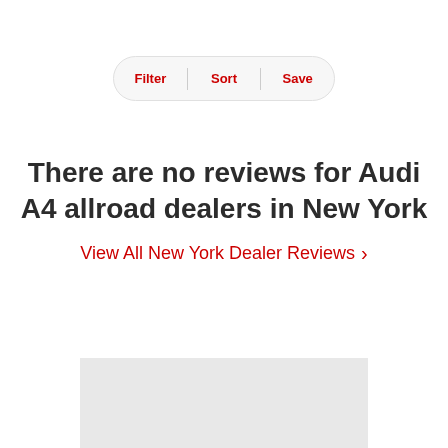[Figure (screenshot): Filter/Sort/Save navigation bar with three buttons separated by dividers, styled with red text on a light rounded pill-shaped background]
There are no reviews for Audi A4 allroad dealers in New York
View All New York Dealer Reviews >